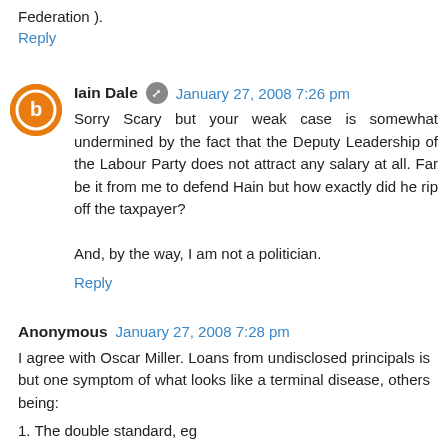Federation ).
Reply
Iain Dale  January 27, 2008 7:26 pm
Sorry Scary but your weak case is somewhat undermined by the fact that the Deputy Leadership of the Labour Party does not attract any salary at all. Far be it from me to defend Hain but how exactly did he rip off the taxpayer?

And, by the way, I am not a politician.
Reply
Anonymous  January 27, 2008 7:28 pm
I agree with Oscar Miller. Loans from undisclosed principals is but one symptom of what looks like a terminal disease, others being:
1. The double standard, eg
- PPERA: